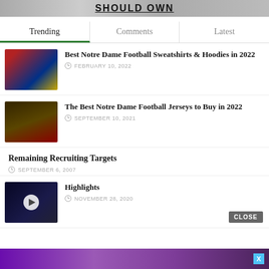[Figure (screenshot): Top banner advertisement with bold underlined text partially visible]
Trending | Comments | Latest
[Figure (photo): Notre Dame football player running with ball in gold helmet]
Best Notre Dame Football Sweatshirts & Hoodies in 2022
FEBRUARY 10, 2022
[Figure (photo): Notre Dame football players in gold helmets, numbers 23 and 5]
The Best Notre Dame Football Jerseys to Buy in 2022
SEPTEMBER 10, 2021
Remaining Recruiting Targets
SEPTEMBER 6, 2007
[Figure (screenshot): Video thumbnail with play button overlay, dark background]
Highlights
NOVEMBER 28, 2020
[Figure (photo): Bottom advertisement banner with purple/violet gradient background]